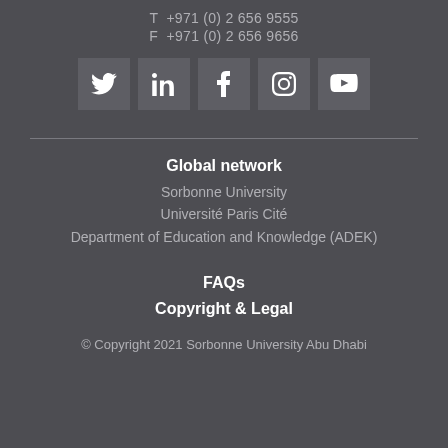T  +971 (0) 2 656 9555
F  +971 (0) 2 656 9656
[Figure (other): Social media icons for Twitter, LinkedIn, Facebook, Instagram, YouTube]
Global network
Sorbonne University
Université Paris Cité
Department of Education and Knowledge (ADEK)
FAQs
Copyright & Legal
© Copyright 2021 Sorbonne University Abu Dhabi